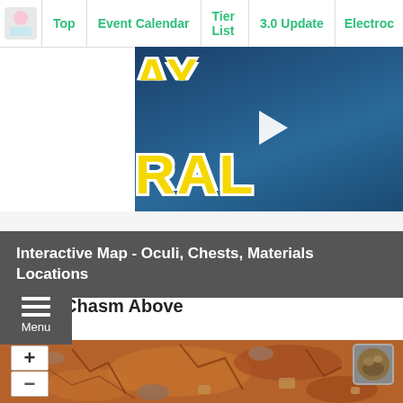Top | Event Calendar | Tier List | 3.0 Update | Electroc
[Figure (screenshot): Video thumbnail showing yellow text 'RAL' and partial 'AY' on dark blue background with a white play button triangle in the center]
Interactive Map - Oculi, Chests, Materials Locations
Menu
The Chasm Above
[Figure (map): Interactive map showing The Chasm Above region with orange/brown terrain textures, zoom in (+) and zoom out (-) buttons on the left, and two circular map legend icons on the right]